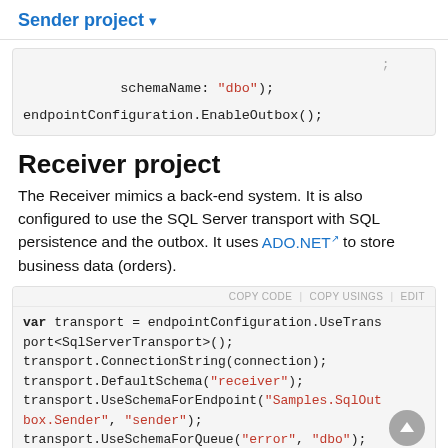Sender project ▾
[Figure (screenshot): Code block showing: schemaName: "dbo"); endpointConfiguration.EnableOutbox();]
Receiver project
The Receiver mimics a back-end system. It is also configured to use the SQL Server transport with SQL persistence and the outbox. It uses ADO.NET to store business data (orders).
[Figure (screenshot): Code block showing: var transport = endpointConfiguration.UseTransport<SqlServerTransport>(); transport.ConnectionString(connection); transport.DefaultSchema("receiver"); transport.UseSchemaForEndpoint("Samples.SqlOutbox.Sender", "sender"); transport.UseSchemaForQueue("error", "dbo");]